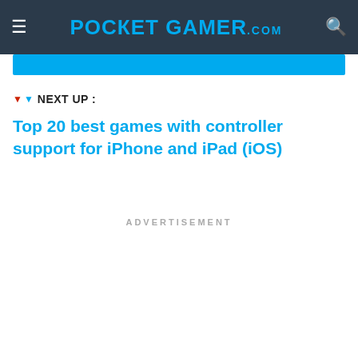POCKET GAMER .com
NEXT UP :
Top 20 best games with controller support for iPhone and iPad (iOS)
ADVERTISEMENT